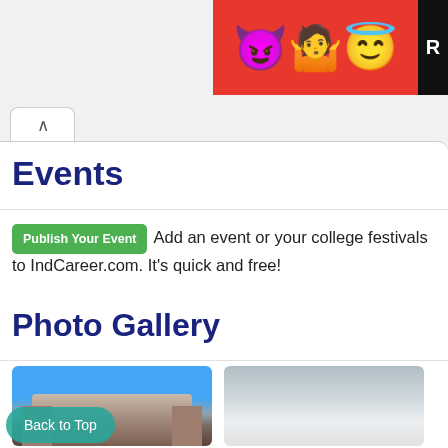[Figure (photo): Advertisement banner with emoji characters (devil, woman, halo smiley) on red background with black R label on right]
Events
Publish Your Event  Add an event or your college festivals to IndCareer.com. It's quick and free!
Photo Gallery
[Figure (photo): College building photo with blue sky background]
[Figure (photo): Light-colored building or structure photo]
Back to Top